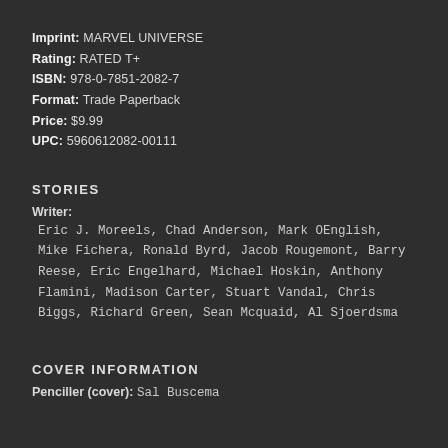Imprint: MARVEL UNIVERSE
Rating: RATED T+
ISBN: 978-0-7851-2082-7
Format: Trade Paperback
Price: $9.99
UPC: 5960612082-00111
STORIES
Writer:
Eric J. Moreels, Chad Anderson, Mark OEnglish, Mike Fichera, Ronald Byrd, Jacob Rougemont, Barry Reese, Eric Engelhard, Michael Hoskin, Anthony Flamini, Madison Carter, Stuart Vandal, Chris Biggs, Richard Green, Sean Mcquaid, Al Sjoerdsma
COVER INFORMATION
Penciller (cover): Sal Buscema